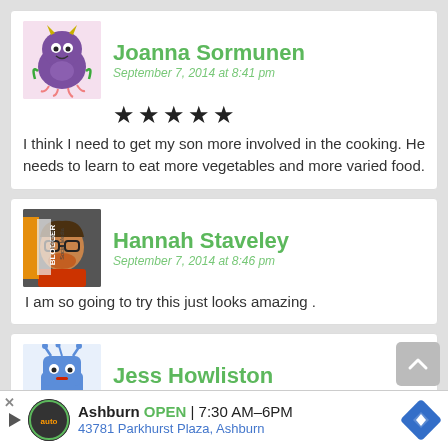[Figure (illustration): Purple cartoon monster avatar for Joanna Sormunen]
Joanna Sormunen
September 7, 2014 at 8:41 pm
★★★★★
I think I need to get my son more involved in the cooking. He needs to learn to eat more vegetables and more varied food.
[Figure (photo): Profile photo of Hannah Staveley with Blogger badge overlay]
Hannah Staveley
September 7, 2014 at 8:46 pm
I am so going to try this just looks amazing .
[Figure (illustration): Blue cartoon character avatar for Jess Howliston]
Jess Howliston
September 7, 2014 at 9:15 pm
Looks delicious!! My little boy loves cooking so will
be get
Ashburn  OPEN | 7:30 AM–6PM
43781 Parkhurst Plaza, Ashburn